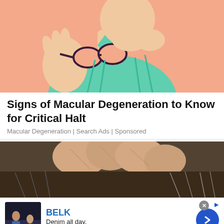[Figure (illustration): Illustration of a person holding glasses up, looking concerned, on a salmon/peach background with teal/green shirt]
Signs of Macular Degeneration to Know for Critical Halt
Macular Degeneration | Search Ads | Sponsored
[Figure (photo): Close-up photo of fingers scratching or touching a scalp with gray/dark hair]
[Figure (illustration): BELK advertisement banner: thumbnail showing women in denim, brand name BELK, tagline Denim all day., URL www.belk.com, blue circular arrow button]